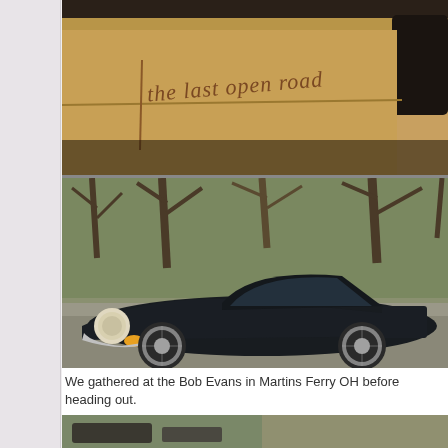[Figure (photo): Close-up of tan/golden luggage or book with text 'the last open road' stamped on it, partially obscured by a dark round object]
[Figure (photo): Dark navy/black classic Jaguar E-Type coupe parked on a road with bare winter trees in the background]
We gathered at the Bob Evans in Martins Ferry OH before heading out.
[Figure (photo): Partial view of another classic car scene, cropped at bottom of page]